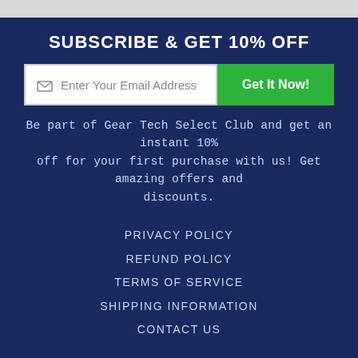SUBSCRIBE & GET 10% OFF
[Figure (screenshot): Email subscription input field with placeholder 'Enter Your Email Address' and a green 'Get It Now!' button]
Be part of Gear Tech Select Club and get an instant 10% off for your first purchase with us! Get amazing offers and discounts.
PRIVACY POLICY
REFUND POLICY
TERMS OF SERVICE
SHIPPING INFORMATION
CONTACT US
Got a Question? Contact us!
support@gear-tech.co.uk
Mon - Fri | 9am - 6pm EST